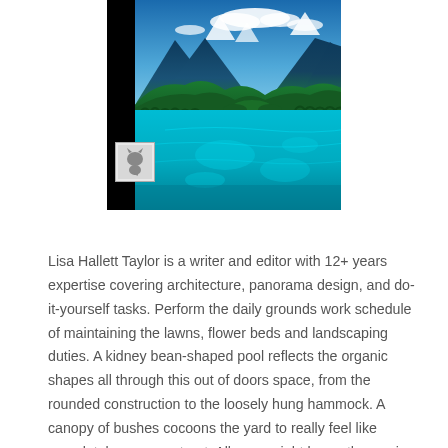[Figure (photo): Landscape photo of a turquoise river or lake with lush green forested hills and mountains with snow-capped peaks in the background, blue sky with white clouds. A small watermark icon is in the lower-left corner of the image.]
Lisa Hallett Taylor is a writer and editor with 12+ years expertise covering architecture, panorama design, and do-it-yourself tasks. Perform the daily grounds work schedule of maintaining the lawns, flower beds and landscaping duties. A kidney bean-shaped pool reflects the organic shapes all through this out of doors space, from the rounded construction to the loosely hung hammock. A canopy of bushes cocoons the yard to really feel like completely serene retreat. All eyes might be on the roaring hearth, at the middle of the garden's